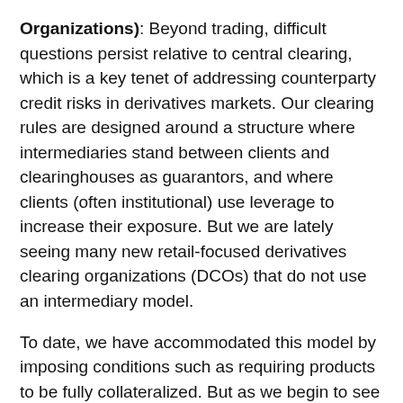Organizations): Beyond trading, difficult questions persist relative to central clearing, which is a key tenet of addressing counterparty credit risks in derivatives markets. Our clearing rules are designed around a structure where intermediaries stand between clients and clearinghouses as guarantors, and where clients (often institutional) use leverage to increase their exposure. But we are lately seeing many new retail-focused derivatives clearing organizations (DCOs) that do not use an intermediary model.
To date, we have accommodated this model by imposing conditions such as requiring products to be fully collateralized. But as we begin to see requests from DCOs to offer leveraged clearing to retail market participants, we would be well-served to clearly define regulatory expectations